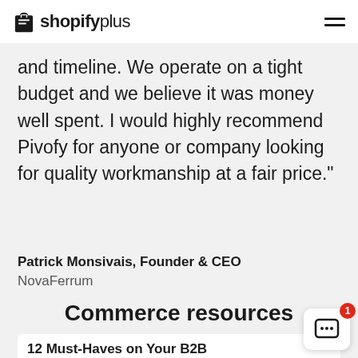shopify plus
and timeline. We operate on a tight budget and we believe it was money well spent. I would highly recommend Pivofy for anyone or company looking for quality workmanship at a fair price."
Patrick Monsivais, Founder & CEO
NovaFerrum
Commerce resources
12 Must-Haves on Your B2B Ecommerce Site